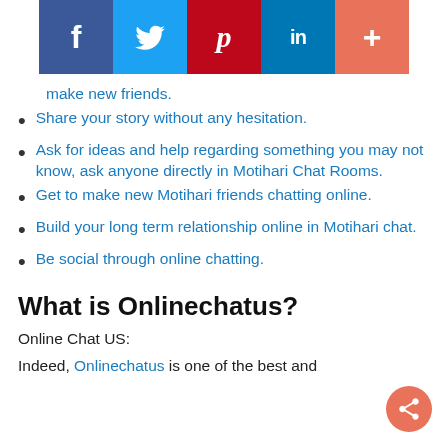[Figure (infographic): Social media sharing bar with icons for Facebook (blue), Twitter (light blue), Pinterest (red), LinkedIn (dark blue), and a plus button (orange-red)]
make new friends.
Share your story without any hesitation.
Ask for ideas and help regarding something you may not know, ask anyone directly in Motihari Chat Rooms.
Get to make new Motihari friends chatting online.
Build your long term relationship online in Motihari chat.
Be social through online chatting.
What is Onlinechatus?
Online Chat US:
Indeed, Onlinechatus is one of the best and